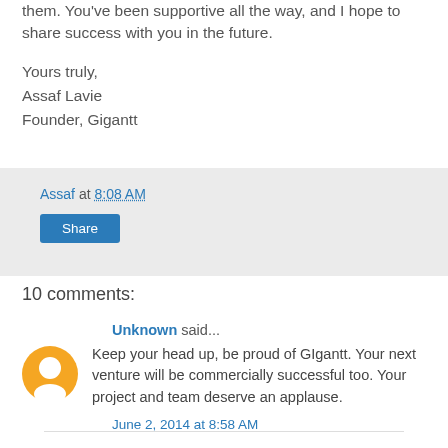them. You've been supportive all the way, and I hope to share success with you in the future.
Yours truly,
Assaf Lavie
Founder, Gigantt
Assaf at 8:08 AM
Share
10 comments:
Unknown said...
Keep your head up, be proud of GIgantt. Your next venture will be commercially successful too. Your project and team deserve an applause.
June 2, 2014 at 8:58 AM